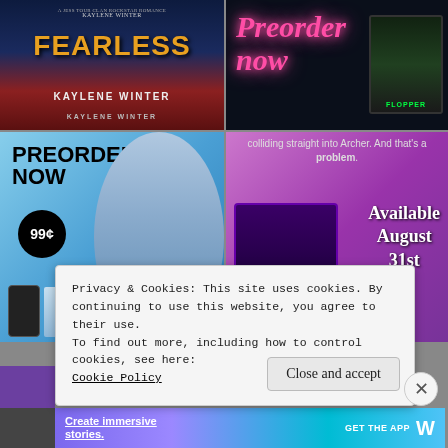[Figure (illustration): Book cover for 'Fearless' by Kaylene Winter - dark blue and red background with gold title text]
[Figure (illustration): Preorder now neon sign in pink with Flopper book cover on tablet on dark background]
[Figure (illustration): PREORDER NOW 99¢ ad with mountain background and man, showing book covers on phone]
[Figure (illustration): Book promo for Lunatic series, Available August 31st, purple background with book cover on tablet]
colliding straight into Archer. And that's a problem.
Available August 31st
Privacy & Cookies: This site uses cookies. By continuing to use this website, you agree to their use.
To find out more, including how to control cookies, see here: Cookie Policy
Close and accept
[Figure (illustration): WordPress ad banner - Create immersive stories. GET THE APP with WordPress logo]